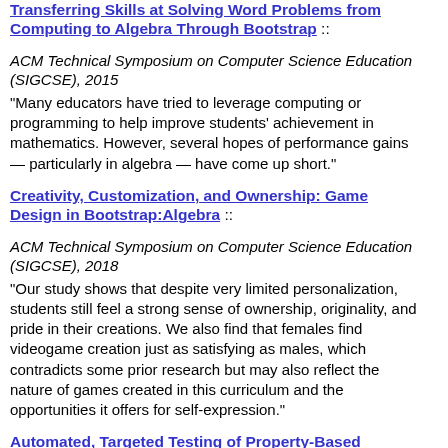Transferring Skills at Solving Word Problems from Computing to Algebra Through Bootstrap ::
ACM Technical Symposium on Computer Science Education (SIGCSE), 2015
“Many educators have tried to leverage computing or programming to help improve students’ achievement in mathematics. However, several hopes of performance gains — particularly in algebra — have come up short.”
Creativity, Customization, and Ownership: Game Design in Bootstrap:Algebra ::
ACM Technical Symposium on Computer Science Education (SIGCSE), 2018
“Our study shows that despite very limited personalization, students still feel a strong sense of ownership, originality, and pride in their creations. We also find that females find videogame creation just as satisfying as males, which contradicts some prior research but may also reflect the nature of games created in this curriculum and the opportunities it offers for self-expression.”
Automated, Targeted Testing of Property-Based Testing